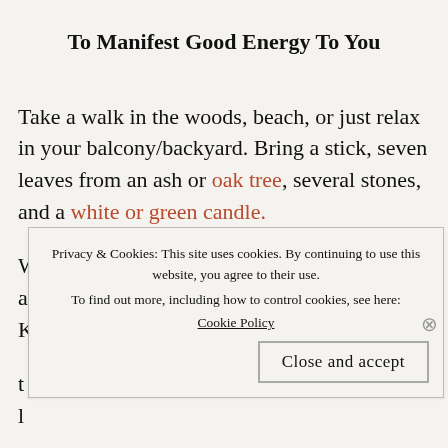To Manifest Good Energy To You
Take a walk in the woods, beach, or just relax in your balcony/backyard. Bring a stick, seven leaves from an ash or oak tree, several stones, and a white or green candle.
With the stick, draw a circle on the ground and mark the directions with your leaves. Keeping three
Privacy & Cookies: This site uses cookies. By continuing to use this website, you agree to their use.
To find out more, including how to control cookies, see here:
Cookie Policy
Close and accept